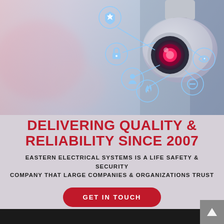[Figure (photo): Security camera on wall with connected icons (shield, lock, person, flame, minus/stop, eye) on a blurred light/pink background]
DELIVERING QUALITY & RELIABILITY SINCE 2007
EASTERN ELECTRICAL SYSTEMS IS A LIFE SAFETY & SECURITY COMPANY THAT LARGE COMPANIES & ORGANIZATIONS TRUST
GET IN TOUCH